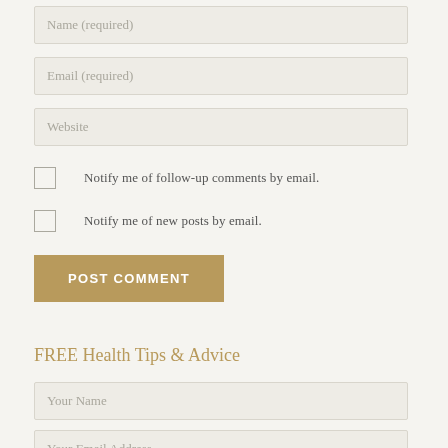Name (required)
Email (required)
Website
Notify me of follow-up comments by email.
Notify me of new posts by email.
POST COMMENT
FREE Health Tips & Advice
Your Name
Your Email Address